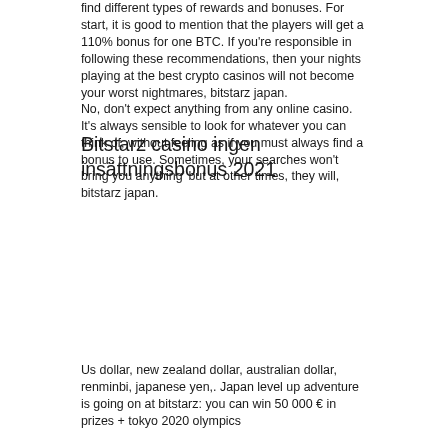find different types of rewards and bonuses. For start, it is good to mention that the players will get a 110% bonus for one BTC. If you're responsible in following these recommendations, then your nights playing at the best crypto casinos will not become your worst nightmares, bitstarz japan. No, don't expect anything from any online casino. It's always sensible to look for whatever you can think of, without feeling as if you must always find a bonus to use. Sometimes, your searches won't bring you anything' but at other times, they will, bitstarz japan.
Bitstarz casino ingen insättningsbonus 2021
Us dollar, new zealand dollar, australian dollar, renminbi, japanese yen,. Japan level up adventure is going on at bitstarz: you can win 50 000 € in prizes + tokyo 2020 olympics